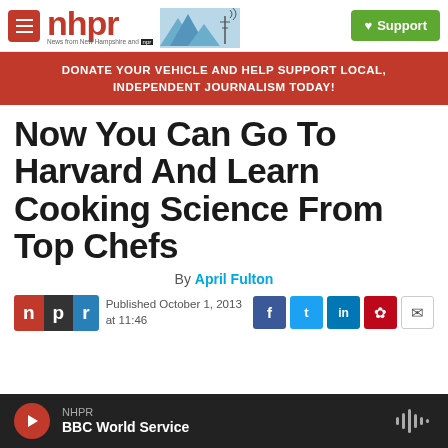nhpr — News from New Hampshire and NPR | Support
DONATE YOUR VEHICLE AND HELP SUPPORT LOCAL, INDEPENDENT JOURNALISM TODAY!
Now You Can Go To Harvard And Learn Cooking Science From Top Chefs
By April Fulton
Published October 1, 2013 at 11:46
NHPR BBC World Service